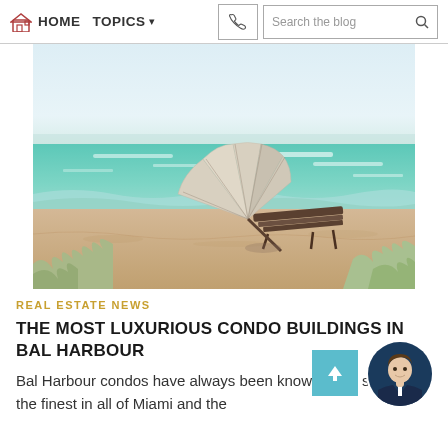HOME  TOPICS  ▾  [phone]  Search the blog
[Figure (photo): Beach scene with a lounge chair under a large white shell-shaped sun shade, turquoise ocean waves in the background, sandy beach with coastal plants in foreground]
REAL ESTATE NEWS
THE MOST LUXURIOUS CONDO BUILDINGS IN BAL HARBOUR
Bal Harbour condos have always been known to be some of the finest in all of Miami and the